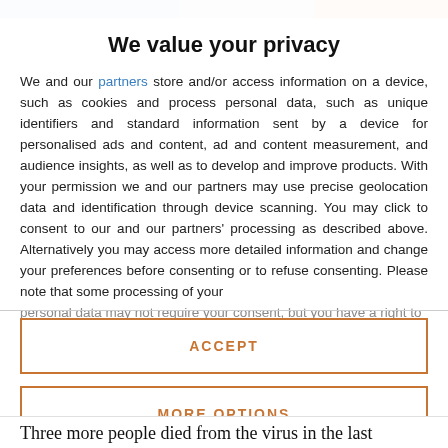We value your privacy
We and our partners store and/or access information on a device, such as cookies and process personal data, such as unique identifiers and standard information sent by a device for personalised ads and content, ad and content measurement, and audience insights, as well as to develop and improve products. With your permission we and our partners may use precise geolocation data and identification through device scanning. You may click to consent to our and our partners' processing as described above. Alternatively you may access more detailed information and change your preferences before consenting or to refuse consenting. Please note that some processing of your personal data may not require your consent, but you have a right to
ACCEPT
MORE OPTIONS
Three more people died from the virus in the last